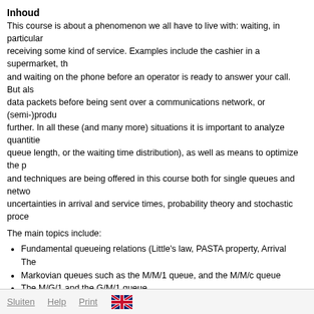Inhoud
This course is about a phenomenon we all have to live with: waiting, in particular receiving some kind of service. Examples include the cashier in a supermarket, the and waiting on the phone before an operator is ready to answer your call. But als data packets before being sent over a communications network, or (semi-)produ further. In all these (and many more) situations it is important to analyze quantitie queue length, or the waiting time distribution), as well as means to optimize the p and techniques are being offered in this course both for single queues and netwo uncertainties in arrival and service times, probability theory and stochastic proce
The main topics include:
Fundamental queueing relations (Little's law, PASTA property, Arrival The
Markovian queues such as the M/M/1 queue, and the M/M/c queue
The M/G/1 and the G/M/1 queue
Jackson networks of queues
Kelly/Whittle networks of queues
Networks of quasi-reversible queues
Queue disciplines (FIFO, PS, LIFO-PR)
Voorkennis
Thorough knowledge of probability theory and Markov chains
Participating study
Master Applied Mathematics
Sluiten   Help   Print